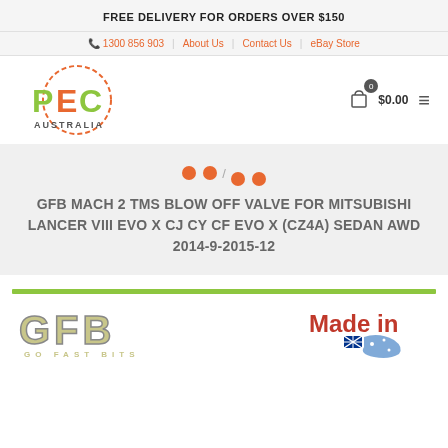FREE DELIVERY FOR ORDERS OVER $150
1300 856 903 | About Us | Contact Us | eBay Store
[Figure (logo): PEC Australia logo - green and orange stylized letters PEC with Australia text below, circular design]
0  $0.00
Home / GFB MACH 2 TMS BLOW OFF VALVE FOR MITSUBISHI LANCER VIII EVO X CJ CY CF EVO X (CZ4A) SEDAN AWD 2014-9-2015-12
GFB MACH 2 TMS BLOW OFF VALVE FOR MITSUBISHI LANCER VIII EVO X CJ CY CF EVO X (CZ4A) SEDAN AWD 2014-9-2015-12
[Figure (logo): GFB Go Fast Bits logo in khaki/olive color with outline text style]
[Figure (illustration): Made in Australia text with Australian flag partial view]